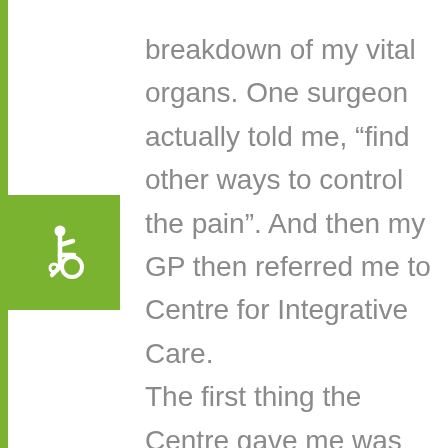[Figure (illustration): Wheelchair accessibility symbol (white icon on green background square on the left side of the page)]
breakdown of my vital organs. One surgeon actually told me, “find other ways to control the pain”. And then my GP then referred me to Centre for Integrative Care. The first thing the Centre gave me was hope. And then, soon enough, I had picked up practical strategies. I learned how to blend my existing knowledge of self-